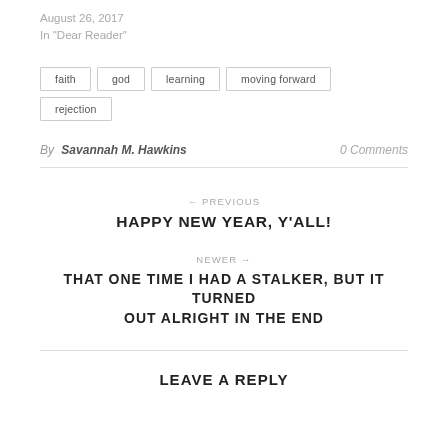August 26, 2017
In "Dear Reader"
faith
god
learning
moving forward
rejection
By Savannah M. Hawkins   0 Comments
← PREVIOUS
HAPPY NEW YEAR, Y'ALL!
NEWER →
THAT ONE TIME I HAD A STALKER, BUT IT TURNED OUT ALRIGHT IN THE END
LEAVE A REPLY